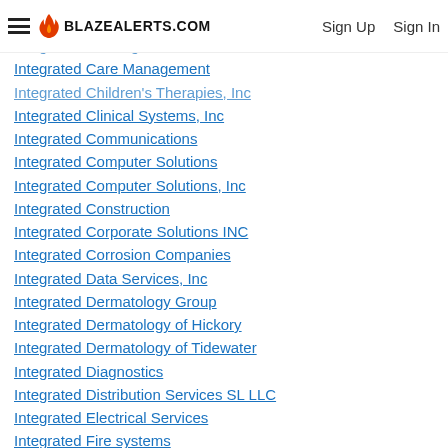BLAZEALERTS.COM | Sign Up | Sign In
Integrated Building Maintenance
Integrated Care Management
Integrated Children's Therapies, Inc
Integrated Clinical Systems, Inc
Integrated Communications
Integrated Computer Solutions
Integrated Computer Solutions, Inc
Integrated Construction
Integrated Corporate Solutions INC
Integrated Corrosion Companies
Integrated Data Services, Inc
Integrated Dermatology Group
Integrated Dermatology of Hickory
Integrated Dermatology of Tidewater
Integrated Diagnostics
Integrated Distribution Services SL LLC
Integrated Electrical Services
Integrated Fire systems
Integrated Health Care Associates
INTEGRATED HEALTHCARE SOLUTION
Integrated Homecare Services
Integrated Installations, Inc
Integrated Logic